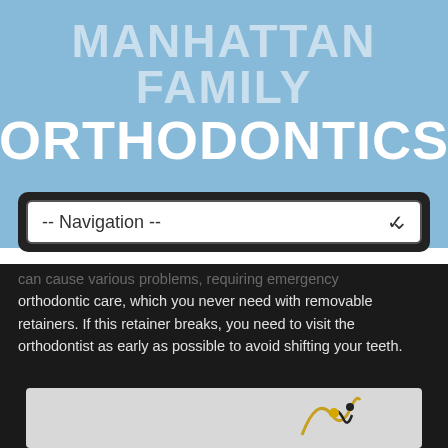MANHATTAN FAMILY ORTHODONTICS
-- Navigation --
can cause various problems, requiring emergency orthodontic care, which you never need with removable retainers. If this retainer breaks, you need to visit the orthodontist as early as possible to avoid shifting your teeth.
[Figure (photo): Partial view of a photo at the bottom of the page against a gray background, with a yellow and black object visible at lower right]